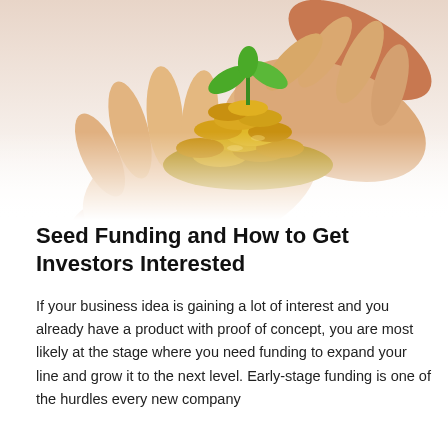[Figure (photo): Two cupped hands holding a pile of coins with a green plant seedling growing from the top, on a white background.]
Seed Funding and How to Get Investors Interested
If your business idea is gaining a lot of interest and you already have a product with proof of concept, you are most likely at the stage where you need funding to expand your line and grow it to the next level. Early-stage funding is one of the hurdles every new company